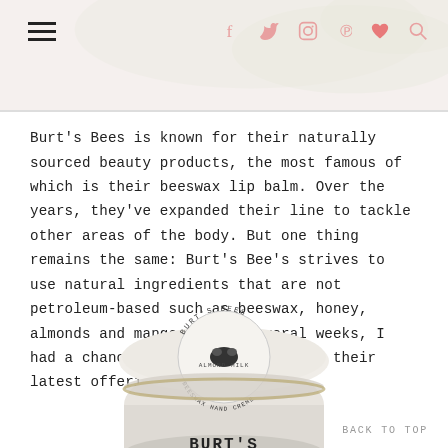Navigation header with hamburger menu and social icons (f, twitter, instagram, pinterest, heart, search)
Burt's Bees is known for their naturally sourced beauty products, the most famous of which is their beeswax lip balm. Over the years, they've expanded their line to tackle other areas of the body. But one thing remains the same: Burt's Bee's strives to use natural ingredients that are not petroleum-based such as beeswax, honey, almonds and mangoes. For several weeks, I had a chance to test drive some of their latest offerings.
[Figure (photo): Burt's Bees Almond Milk Beeswax Hand Creme jar, white circular tin with logo on lid, BURT'S text visible at bottom]
BACK TO TOP